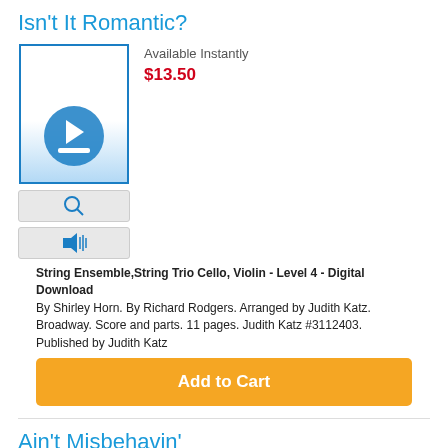Isn't It Romantic?
[Figure (illustration): Music sheet download thumbnail with blue download icon and two icon buttons (magnify and audio)]
Available Instantly
$13.50
String Ensemble,String Trio Cello, Violin - Level 4 - Digital Download
By Shirley Horn. By Richard Rodgers. Arranged by Judith Katz. Broadway. Score and parts. 11 pages. Judith Katz #3112403. Published by Judith Katz
Add to Cart
Ain't Misbehavin'
[Figure (logo): Norton Shopping Guarantee badge with verifying... text]
Available Instantly
$13.50